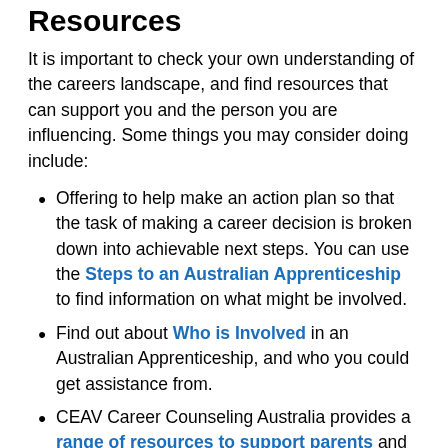Resources
It is important to check your own understanding of the careers landscape, and find resources that can support you and the person you are influencing. Some things you may consider doing include:
Offering to help make an action plan so that the task of making a career decision is broken down into achievable next steps. You can use the Steps to an Australian Apprenticeship to find information on what might be involved.
Find out about Who is Involved in an Australian Apprenticeship, and who you could get assistance from.
CEAV Career Counseling Australia provides a range of resources to support parents and carers explore careers and the world of work and help support young people in their personal career planning and